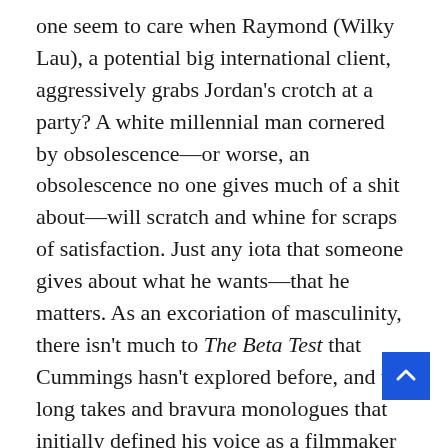one seem to care when Raymond (Wilky Lau), a potential big international client, aggressively grabs Jordan's crotch at a party? A white millennial man cornered by obsolescence—or worse, an obsolescence no one gives much of a shit about—will scratch and whine for scraps of satisfaction. Just any iota that someone gives about what he wants—that he matters. As an excoriation of masculinity, there isn't much to The Beta Test that Cummings hasn't explored before, and the long takes and bravura monologues that initially defined his voice as a filmmaker appear here, though more sublimated into the fabric of the film than in any previous feature. And his handle on genre remains deft but slippery. The Beta Test is an erotic thri… devotedly as it's a satire and an upsetting glim… of…